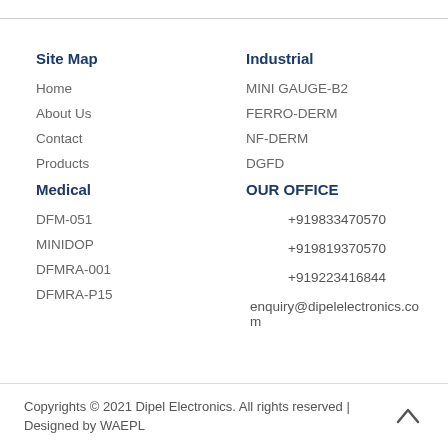Site Map
Home
About Us
Contact
Products
Medical
DFM-051
MINIDOP
DFMRA-001
DFMRA-P15
Industrial
MINI GAUGE-B2
FERRO-DERM
NF-DERM
DGFD
OUR OFFICE
+919833470570
+919819370570
+919223416844
enquiry@dipelelectronics.com
Copyrights © 2021 Dipel Electronics. All rights reserved | Designed by WAEPL